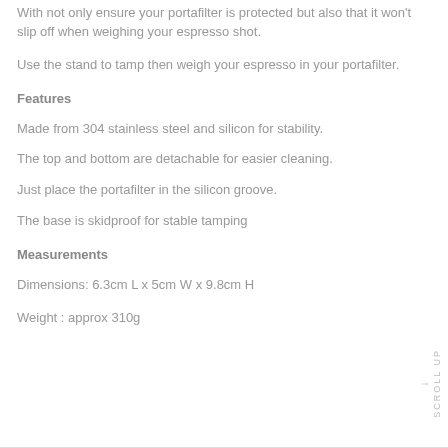With not only ensure your portafilter is protected but also that it won't slip off when weighing your espresso shot.
Use the stand to tamp then weigh your espresso in your portafilter.
Features
Made from 304 stainless steel and silicon for stability.
The top and bottom are detachable for easier cleaning.
Just place the portafilter in the silicon groove.
The base is skidproof for stable tamping
Measurements
Dimensions: 6.3cm L x 5cm W x 9.8cm H
Weight : approx 310g